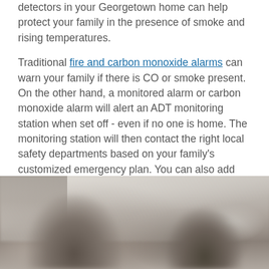detectors in your Georgetown home can help protect your family in the presence of smoke and rising temperatures.
Traditional fire and carbon monoxide alarms can warn your family if there is CO or smoke present. On the other hand, a monitored alarm or carbon monoxide alarm will alert an ADT monitoring station when set off - even if no one is home. The monitoring station will then contact the right local safety departments based on your family's customized emergency plan. You can also add water sensors to alert you of a leak or malfunctioning sump pump.
[Figure (photo): A blurred photo showing two children making a fort or playing under white fabric/sheets, with shelving or furniture visible in the background.]